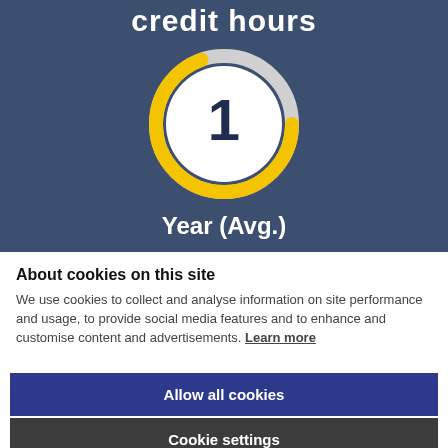credit hours
[Figure (donut-chart): 1 Year (Avg.)]
Year (Avg.)
About cookies on this site
We use cookies to collect and analyse information on site performance and usage, to provide social media features and to enhance and customise content and advertisements. Learn more
Allow all cookies
Cookie settings